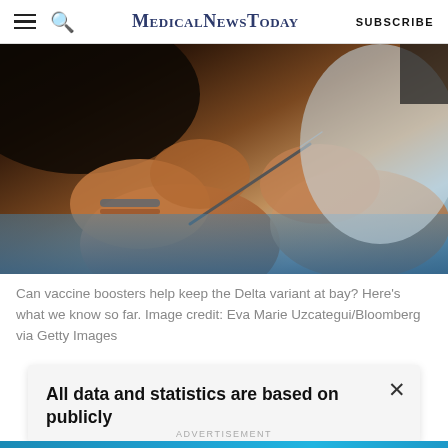MedicalNewsToday  SUBSCRIBE
[Figure (photo): Close-up of hands holding a syringe/needle during a vaccination procedure, with blue medical cloth in background]
Can vaccine boosters help keep the Delta variant at bay? Here’s what we know so far. Image credit: Eva Marie Uzcategui/Bloomberg via Getty Images
All data and statistics are based on publicly
ADVERTISEMENT
Get the MNT newsletter
Subscribe to receive our top news articles.
SUBSCRIBE